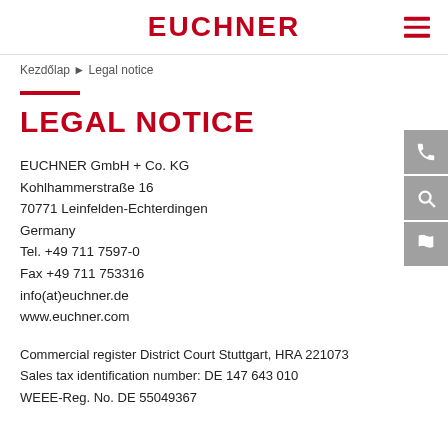EUCHNER
Kezdőlap ▶ Legal notice
LEGAL NOTICE
EUCHNER GmbH + Co. KG
Kohlhammerstraße 16
70771 Leinfelden-Echterdingen
Germany
Tel. +49 711 7597-0
Fax +49 711 753316
info(at)euchner.de
www.euchner.com
Commercial register District Court Stuttgart, HRA 221073
Sales tax identification number: DE 147 643 010
WEEE-Reg. No. DE 55049367